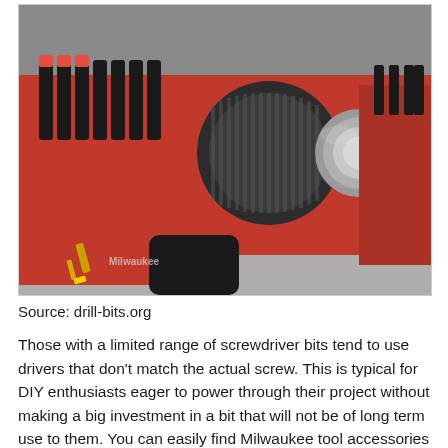[Figure (photo): Close-up photo of red Milwaukee power drills/screwdrivers with various black and gold drill bits and screwdriver bits attached, showing the chuck and grip areas of the tools against a grey background.]
Source: drill-bits.org
Those with a limited range of screwdriver bits tend to use drivers that don't match the actual screw. This is typical for DIY enthusiasts eager to power through their project without making a big investment in a bit that will not be of long term use to them. You can easily find Milwaukee tool accessories to the likes of drill and driver bits, so don't do this. Failing to comply will result in more effort and time wasted on an otherwise easy project. The bit will wear out fast and at the